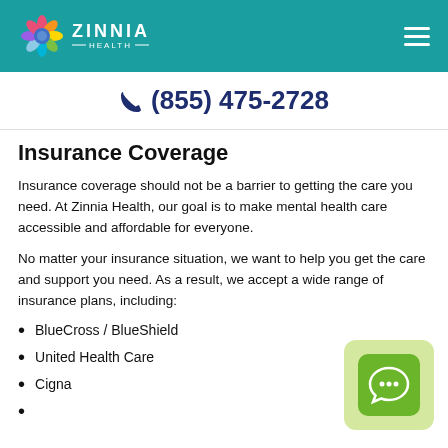[Figure (logo): Zinnia Health logo with colorful flower and teal header bar with hamburger menu]
(855) 475-2728
Insurance Coverage
Insurance coverage should not be a barrier to getting the care you need. At Zinnia Health, our goal is to make mental health care accessible and affordable for everyone.
No matter your insurance situation, we want to help you get the care and support you need. As a result, we accept a wide range of insurance plans, including:
BlueCross / BlueShield
United Health Care
Cigna
[Figure (illustration): Green chat bubble icon widget in light green rounded rectangle]